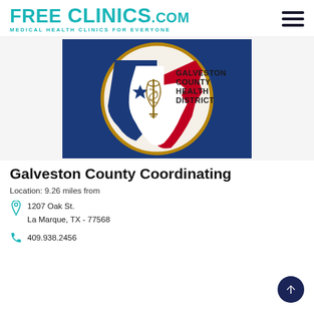FREE CLINICS.COM Medical Health Clinics For Everyone
[Figure (logo): Galveston County Health District logo featuring the Texas state outline with a blue and red flag design inside a circular gold border, with a caduceus symbol in the center and text reading GALVESTON COUNTY HEALTH DISTRICT]
Galveston County Coordinating
Location: 9.26 miles from
1207 Oak St.
La Marque, TX - 77568
409.938.2456